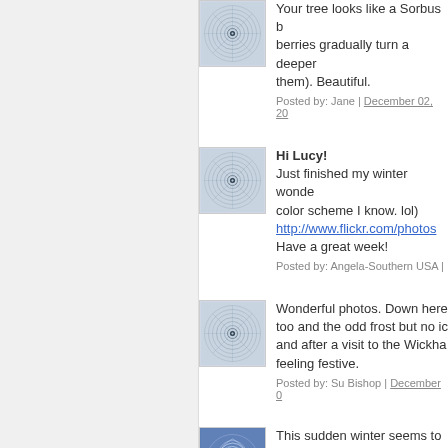Your tree looks like a Sorbus berries gradually turn a deeper them). Beautiful.
Posted by: Jane | December 02, 20...
[Figure (illustration): Avatar thumbnail with circular spiral pattern on light blue/grey background]
Hi Lucy!
Just finished my winter wonder color scheme I know. lol)
http://www.flickr.com/photos...
Have a great week!
Posted by: Angela-Southern USA |
[Figure (illustration): Avatar thumbnail with circular spiral pattern on light blue/grey background]
Wonderful photos. Down here too and the odd frost but no ic and after a visit to the Wickha feeling festive.
Posted by: Su Bishop | December 0...
[Figure (illustration): Avatar thumbnail with circular spiral pattern on light blue/grey background]
This sudden winter seems to h of the world a week ago literal the next one - northern wind a since. And I am supposed to b least I can keep my crochet...
[Figure (illustration): Avatar thumbnail with blue leaf/wave pattern on blue background]